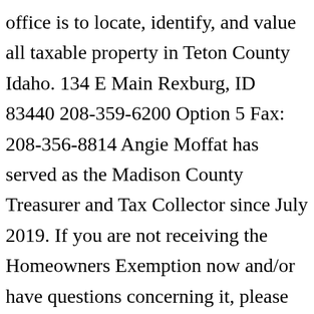office is to locate, identify, and value all taxable property in Teton County Idaho. 134 E Main Rexburg, ID 83440 208-359-6200 Option 5 Fax: 208-356-8814 Angie Moffat has served as the Madison County Treasurer and Tax Collector since July 2019. If you are not receiving the Homeowners Exemption now and/or have questions concerning it, please direct your questions to them at (208) 446-1500. 0.000121963. Property Tax Reduction Program Application: (Circuit Breaker) Circuit Breaker Applications are mailed out in January of every